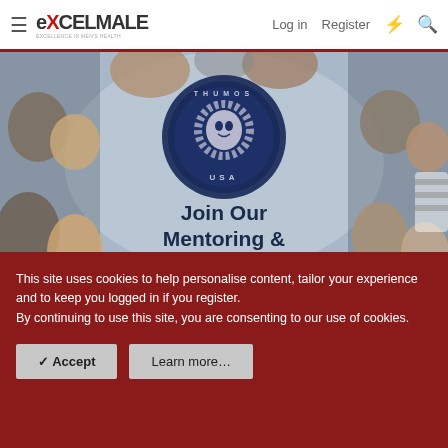ExcelMale — Log in | Register
[Figure (photo): Hero banner showing a group of people looking down from above in a circle, with the Thumos USA lion logo in the center and text 'Join Our Mentoring & Coaching Community' in dark navy below the logo.]
This site uses cookies to help personalise content, tailor your experience and to keep you logged in if you register.
By continuing to use this site, you are consenting to our use of cookies.